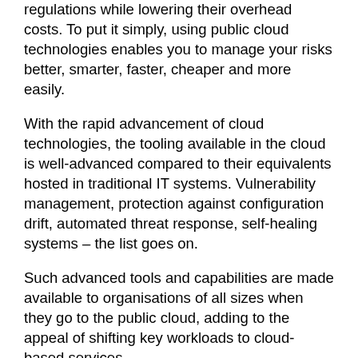regulations while lowering their overhead costs. To put it simply, using public cloud technologies enables you to manage your risks better, smarter, faster, cheaper and more easily.
With the rapid advancement of cloud technologies, the tooling available in the cloud is well-advanced compared to their equivalents hosted in traditional IT systems. Vulnerability management, protection against configuration drift, automated threat response, self-healing systems – the list goes on.
Such advanced tools and capabilities are made available to organisations of all sizes when they go to the public cloud, adding to the appeal of shifting key workloads to cloud-based services.
On top of that, cloud technologies are significantly more comprehensive and integrated today than traditional offerings. They feature security, compliance